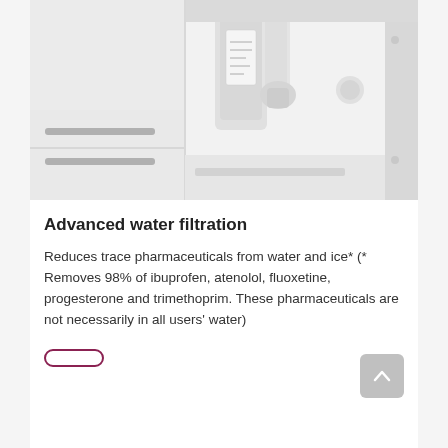[Figure (photo): Close-up photo of a refrigerator water filter and ice maker components, predominantly white/light grey tones showing filter canister, water dispenser arm, and drawer handles.]
Advanced water filtration
Reduces trace pharmaceuticals from water and ice* (* Removes 98% of ibuprofen, atenolol, fluoxetine, progesterone and trimethoprim. These pharmaceuticals are not necessarily in all users' water)